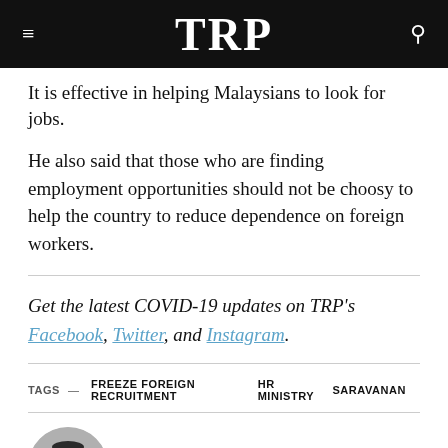TRP
It is effective in helping Malaysians to look for jobs.
He also said that those who are finding employment opportunities should not be choosy to help the country to reduce dependence on foreign workers.
Get the latest COVID-19 updates on TRP's Facebook, Twitter, and Instagram.
TAGS — FREEZE FOREIGN RECRUITMENT  HR MINISTRY  SARAVANAN
[Figure (photo): Circular black and white author profile photo showing a person wearing glasses and a dark shirt]